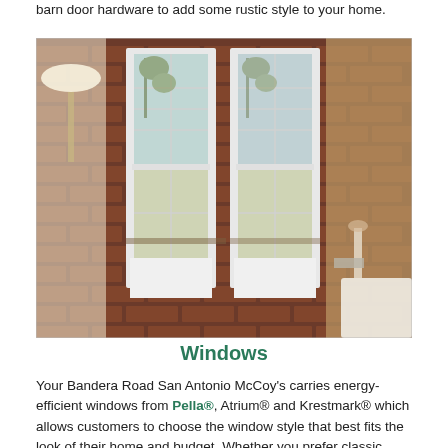barn door hardware to add some rustic style to your home.
[Figure (photo): Interior photo of two white-framed double-hung windows set in a red brick wall, with trees visible outside. A floor lamp is on the left, and a white sofa with a side table is on the right.]
Windows
Your Bandera Road San Antonio McCoy's carries energy-efficient windows from Pella®, Atrium® and Krestmark® which allows customers to choose the window style that best fits the look of their home and budget. Whether you prefer classic wood-clad windows or